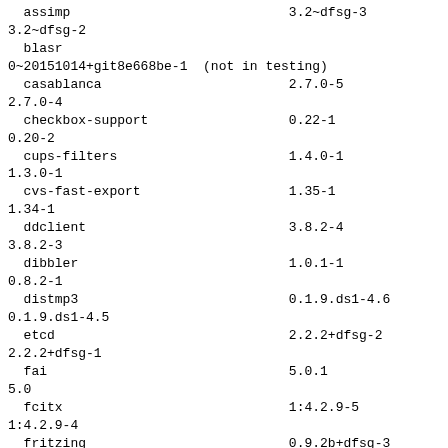| Package | Testing version | Unstable version |
| --- | --- | --- |
| assimp | 3.2~dfsg-3 | 3.2~dfsg-2 |
| blasr | 0~20151014+git8e668be-1 (not in testing) |  |
| casablanca | 2.7.0-5 | 2.7.0-4 |
| checkbox-support | 0.22-1 | 0.20-2 |
| cups-filters | 1.4.0-1 | 1.3.0-1 |
| cvs-fast-export | 1.35-1 | 1.34-1 |
| ddclient | 3.8.2-4 | 3.8.2-3 |
| dibbler | 1.0.1-1 | 0.8.2-1 |
| distmp3 | 0.1.9.ds1-4.6 | 0.1.9.ds1-4.5 |
| etcd | 2.2.2+dfsg-2 | 2.2.2+dfsg-1 |
| fai | 5.0.1 | 5.0 |
| fcitx | 1:4.2.9-5 | 1:4.2.9-4 |
| fritzing | 0.9.2b+dfsg-3 | 0.9.0b+dfsg-1.1 |
| gdk-pixbuf | 2.32.3-1 | 2.32.2-1 |
| gextractwinicons | 0.3.1-1.1 | 0.3.1-1 |